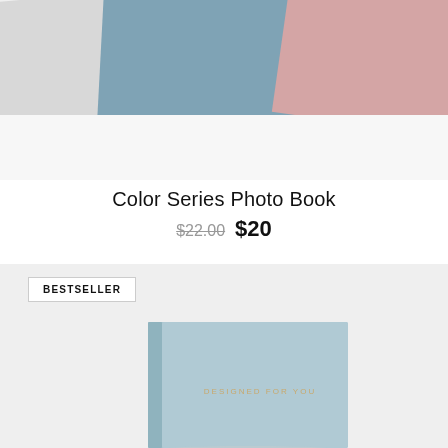[Figure (photo): Photo books fanned out showing gray, blue, and pink covers on a white/light gray background]
Color Series Photo Book
$22.00  $20
[Figure (photo): Light blue hardcover photo book centered on a light gray background, with a BESTSELLER badge in the upper left]
BESTSELLER